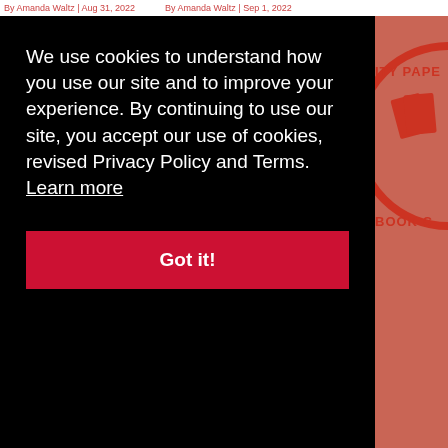By Amanda Waltz | Aug 31, 2022   By Amanda Waltz | Sep 1, 2022
We use cookies to understand how you use our site and to improve your experience. By continuing to use our site, you accept our use of cookies, revised Privacy Policy and Terms.  Learn more
Got it!
[Figure (logo): City Paper Book Club circular logo, partial view on right side]
You
en?
Pittsburgh-area student discounts
By Dontae Washington
Aug 22, 2022
By Lisa Cunningham | Aug 31, 2022
[Figure (screenshot): Advertisement for Chewy.com: Pet Food, Products, Supplies at Low Prices - Pay the lowest prices on pet supplies at Chewy.com]